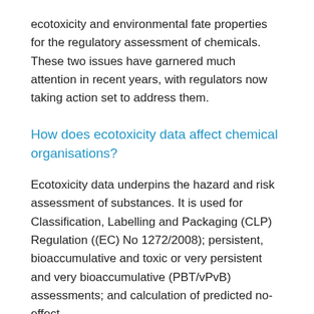ecotoxicity and environmental fate properties for the regulatory assessment of chemicals. These two issues have garnered much attention in recent years, with regulators now taking action set to address them.
How does ecotoxicity data affect chemical organisations?
Ecotoxicity data underpins the hazard and risk assessment of substances. It is used for Classification, Labelling and Packaging (CLP) Regulation ((EC) No 1272/2008); persistent, bioaccumulative and toxic or very persistent and very bioaccumulative (PBT/vPvB) assessments; and calculation of predicted no-effect